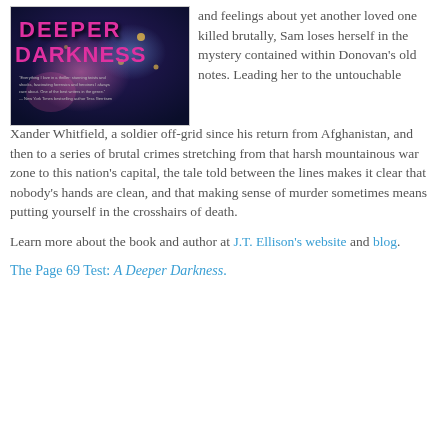[Figure (illustration): Book cover of 'A Deeper Darkness' showing pink/magenta title text on a dark blue/purple background with a quote at the bottom]
and feelings about yet another loved one killed brutally, Sam loses herself in the mystery contained within Donovan's old notes. Leading her to the untouchable Xander Whitfield, a soldier off-grid since his return from Afghanistan, and then to a series of brutal crimes stretching from that harsh mountainous war zone to this nation's capital, the tale told between the lines makes it clear that nobody's hands are clean, and that making sense of murder sometimes means putting yourself in the crosshairs of death.
Learn more about the book and author at J.T. Ellison's website and blog.
The Page 69 Test: A Deeper Darkness.